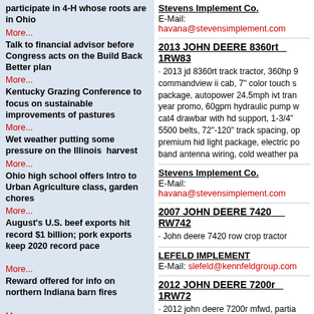participate in 4-H whose roots are in Ohio
More...
Talk to financial advisor before Congress acts on the Build Back Better plan
More...
Kentucky Grazing Conference to focus on sustainable improvements of pastures
More...
Wet weather putting some pressure on the Illinois harvest
More...
Ohio high school offers Intro to Urban Agriculture class, garden chores
More...
August's U.S. beef exports hit record $1 billion; pork exports keep 2020 record pace
More...
Reward offered for info on northern Indiana barn fires
More...
Ag world reacts to infrastructure bill passage
More...
Stevens Implement Co.
E-Mail: havana@stevensimplement.com
2013 JOHN DEERE 8360rt   1RW83...
· 2013 jd 8360rt track tractor, 360hp 9 commandview ii cab, 7" color touch s package, autopower 24.5mph ivt tran year promo, 60gpm hydraulic pump w cat4 drawbar with hd support, 1-3/4" 5500 belts, 72"-120" track spacing, op premium hid light package, electric po band antenna wiring, cold weather pa
Stevens Implement Co.
E-Mail: havana@stevensimplement.com
2007 JOHN DEERE 7420   RW742...
· John deere 7420 row crop tractor
LEFELD IMPLEMENT
E-Mail: slefeld@kennfeldgroup.com
2012 JOHN DEERE 7200r   1RW72...
· 2012 john deere 7200r mfwd, partial 380/85r34 front firestone @85%, 480 1 set rear i/i 450 lb wts, quick hitch, d throttle, 7 & 9 pin, rear wiper, tool box